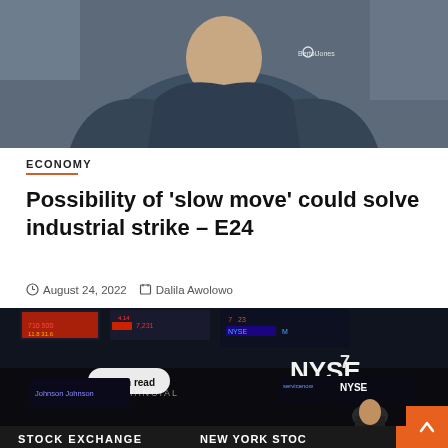[Figure (photo): Top portion showing a person wearing a dark navy blue shirt with a logo on the chest, cropped at the torso]
ECONOMY
Possibility of ‘slow move’ could solve industrial strike – E24
August 24, 2022   Dalila Awolowo
[Figure (photo): NYSE trading floor photo showing stock exchange screens, traders, Johnson & Johnson and NYSE signage, with a '3 min read' label overlay and 'STOCK EXCHANGE NEW YORK STOCK EXCHANGE' text at the bottom]